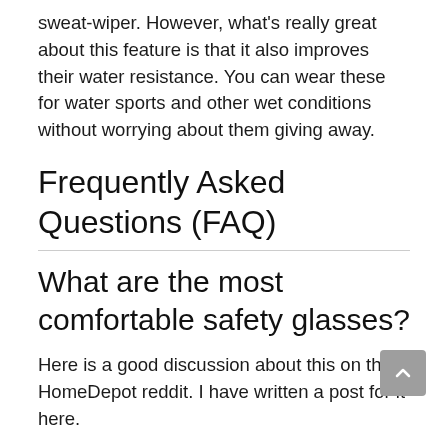sweat-wiper. However, what's really great about this feature is that it also improves their water resistance. You can wear these for water sports and other wet conditions without worrying about them giving away.
Frequently Asked Questions (FAQ)
What are the most comfortable safety glasses?
Here is a good discussion about this on the HomeDepot reddit. I have written a post for it here.
Comfort is one of the most important factors to consider here. From the edge of the frame...